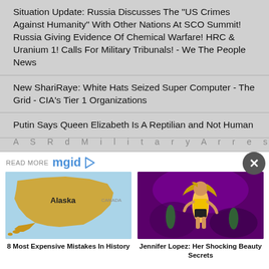Situation Update: Russia Discusses The "US Crimes Against Humanity" With Other Nations At SCO Summit! Russia Giving Evidence Of Chemical Warfare! HRC & Uranium 1! Calls For Military Tribunals! - We The People News
New ShariRaye: White Hats Seized Super Computer - The Grid - CIA's Tier 1 Organizations
Putin Says Queen Elizabeth Is A Reptilian and Not Human
READ MORE mgid
[Figure (photo): Map of Alaska highlighted in orange/gold color]
8 Most Expensive Mistakes In History
[Figure (photo): Jennifer Lopez performing on stage in yellow and black outfit with purple lighting]
Jennifer Lopez: Her Shocking Beauty Secrets